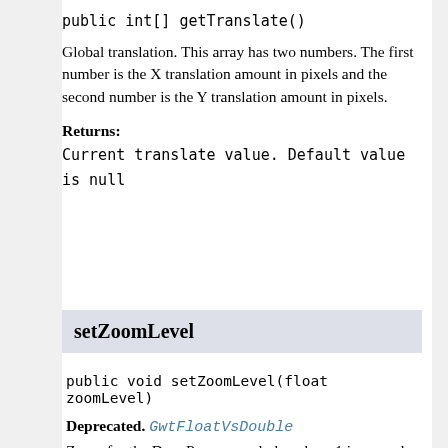public int[] getTranslate()
Global translation. This array has two numbers. The first number is the X translation amount in pixels and the second number is the Y translation amount in pixels.
Returns:
Current translate value. Default value is null
setZoomLevel
public void setZoomLevel(float zoomLevel)
Deprecated. GwtFloatVsDouble
Zoom for the DrawPane as a whole, where 1 is normal size.